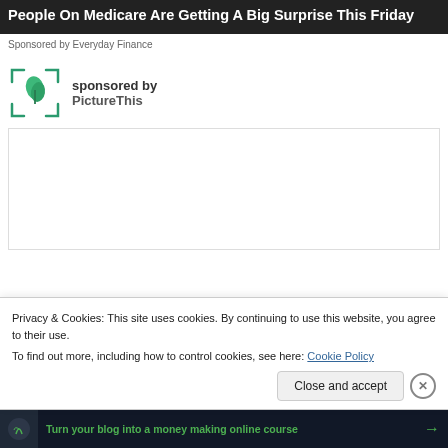[Figure (screenshot): Dark banner ad with white bold text reading 'People On Medicare Are Getting A Big Surprise This Friday']
Sponsored by Everyday Finance
[Figure (logo): PictureThis app logo: green leaf plant icon inside corner bracket frame]
sponsored by PictureThis
[Figure (other): Empty white advertisement box with gray border]
Privacy & Cookies: This site uses cookies. By continuing to use this website, you agree to their use.
To find out more, including how to control cookies, see here: Cookie Policy
Close and accept
[Figure (screenshot): Dark bottom bar advertisement with green text 'Turn your blog into a money making online course' and an arrow]